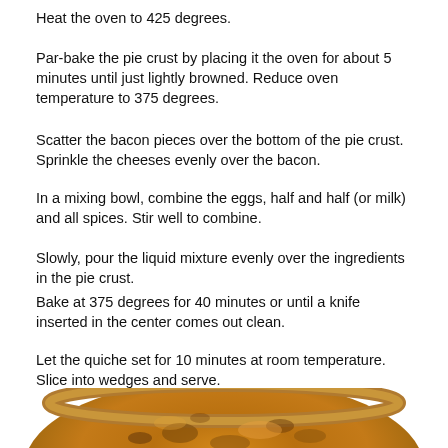Heat the oven to 425 degrees.
Par-bake the pie crust by placing it the oven for about 5 minutes until just lightly browned. Reduce oven temperature to 375 degrees.
Scatter the bacon pieces over the bottom of the pie crust. Sprinkle the cheeses evenly over the bacon.
In a mixing bowl, combine the eggs, half and half (or milk) and all spices. Stir well to combine.
Slowly, pour the liquid mixture evenly over the ingredients in the pie crust.
Bake at 375 degrees for 40 minutes or until a knife inserted in the center comes out clean.
Let the quiche set for 10 minutes at room temperature. Slice into wedges and serve.
[Figure (photo): A close-up photo of a baked quiche slice showing a golden-brown top crust with darker spots, and a pie crust edge visible at the top of the image.]